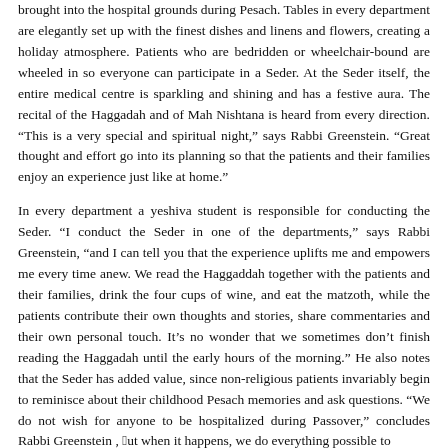brought into the hospital grounds during Pesach. Tables in every department are elegantly set up with the finest dishes and linens and flowers, creating a holiday atmosphere. Patients who are bedridden or wheelchair-bound are wheeled in so everyone can participate in a Seder. At the Seder itself, the entire medical centre is sparkling and shining and has a festive aura. The recital of the Haggadah and of Mah Nishtana is heard from every direction. “This is a very special and spiritual night,” says Rabbi Greenstein. “Great thought and effort go into its planning so that the patients and their families enjoy an experience just like at home.”
In every department a yeshiva student is responsible for conducting the Seder. “I conduct the Seder in one of the departments,” says Rabbi Greenstein, “and I can tell you that the experience uplifts me and empowers me every time anew. We read the Haggaddah together with the patients and their families, drink the four cups of wine, and eat the matzoth, while the patients contribute their own thoughts and stories, share commentaries and their own personal touch. It’s no wonder that we sometimes don’t finish reading the Haggadah until the early hours of the morning.” He also notes that the Seder has added value, since non-religious patients invariably begin to reminisce about their childhood Pesach memories and ask questions. “We do not wish for anyone to be hospitalized during Passover,” concludes Rabbi Greenstein , “but when it happens, we do everything possible to